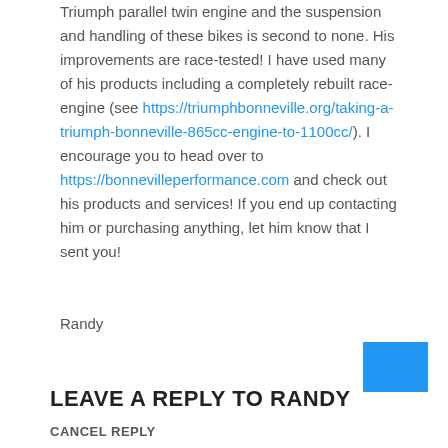Triumph parallel twin engine and the suspension and handling of these bikes is second to none. His improvements are race-tested! I have used many of his products including a completely rebuilt race-engine (see https://triumphbonneville.org/taking-a-triumph-bonneville-865cc-engine-to-1100cc/). I encourage you to head over to https://bonnevilleperformance.com and check out his products and services! If you end up contacting him or purchasing anything, let him know that I sent you!
Randy
[Figure (other): Blue rectangle button/box in lower right area]
LEAVE A REPLY TO RANDY
CANCEL REPLY